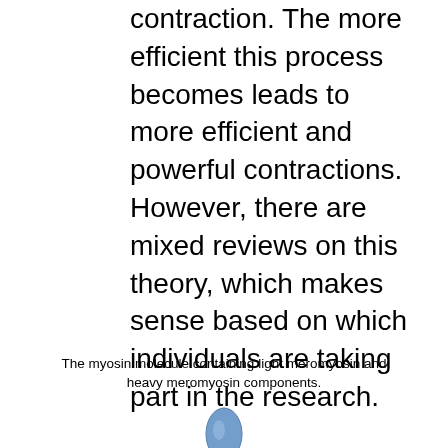contraction. The more efficient this process becomes leads to more efficient and powerful contractions. However, there are mixed reviews on this theory, which makes sense based on which individuals are taking part in the research.
The myosin molecule containing light meromyosin and heavy meromyosin components.
[Figure (illustration): Partial view of a blue oval/ellipse shape representing part of the myosin molecule diagram, cropped at the bottom of the page.]